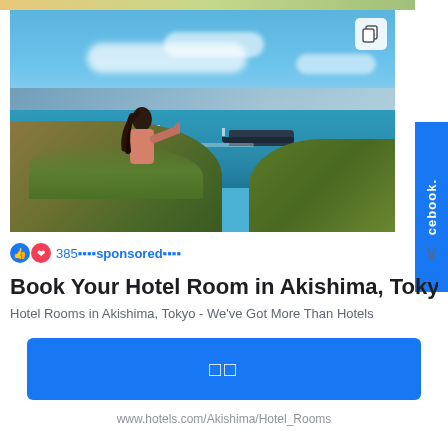[Figure (photo): Screenshot of a Facebook sponsored post showing a photo of a person pointing toward a bay/ocean view with hills, blue water, a large ship, and distant mountains under a clear blue sky. A copy/duplicate icon is visible in the top right corner of the photo. A blue Facebook sidebar is on the right edge.]
385 sponsored
Book Your Hotel Room in Akishima, Tokyo. Browse R
Hotel Rooms in Akishima, Tokyo - We've Got More Than Hotels
□□
www.hotels.com/Akishima/Hotel_Rooms